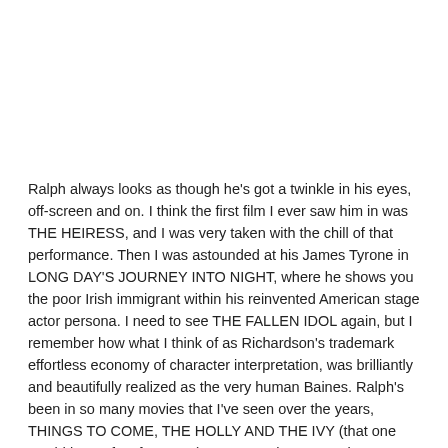Ralph always looks as though he's got a twinkle in his eyes, off-screen and on. I think the first film I ever saw him in was THE HEIRESS, and I was very taken with the chill of that performance. Then I was astounded at his James Tyrone in LONG DAY'S JOURNEY INTO NIGHT, where he shows you the poor Irish immigrant within his reinvented American stage actor persona. I need to see THE FALLEN IDOL again, but I remember how what I think of as Richardson's trademark effortless economy of character interpretation, was brilliantly and beautifully realized as the very human Baines. Ralph's been in so many movies that I've seen over the years, THINGS TO COME, THE HOLLY AND THE IVY (that one would be perfect for Xmas) so many others I'm trying to remember off the top of my pointy head...I think he even played Dr. Watson! Also was in some of those Brit horror/suspense stuff, WHOEVER SLEW AUNTIE ROO? with Shelly Winters, lol, a FRANKENSTEIN t.v. movie, etc. You